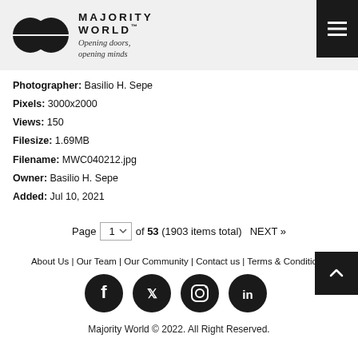[Figure (logo): Majority World logo with two overlapping circles and text 'MAJORITY WORLD™ Opening doors, opening minds']
Photographer: Basilio H. Sepe
Pixels: 3000x2000
Views: 150
Filesize: 1.69MB
Filename: MWC040212.jpg
Owner: Basilio H. Sepe
Added: Jul 10, 2021
Page 1 of 53 (1903 items total) NEXT »
About Us | Our Team | Our Community | Contact us | Terms & Conditions
[Figure (illustration): Social media icons: Facebook, Twitter, Instagram, LinkedIn]
Majority World © 2022. All Right Reserved.